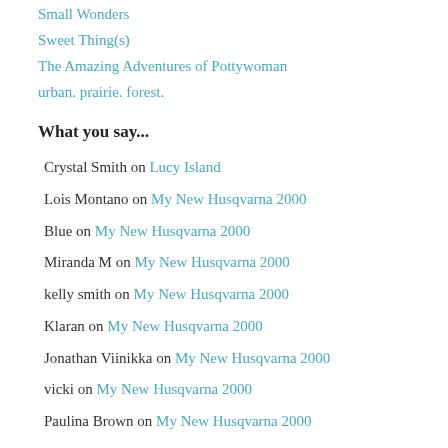Small Wonders
Sweet Thing(s)
The Amazing Adventures of Pottywoman
urban. prairie. forest.
What you say...
Crystal Smith on Lucy Island
Lois Montano on My New Husqvarna 2000
Blue on My New Husqvarna 2000
Miranda M on My New Husqvarna 2000
kelly smith on My New Husqvarna 2000
Klaran on My New Husqvarna 2000
Jonathan Viinikka on My New Husqvarna 2000
vicki on My New Husqvarna 2000
Paulina Brown on My New Husqvarna 2000
Kylie on My New Husqvarna 2000